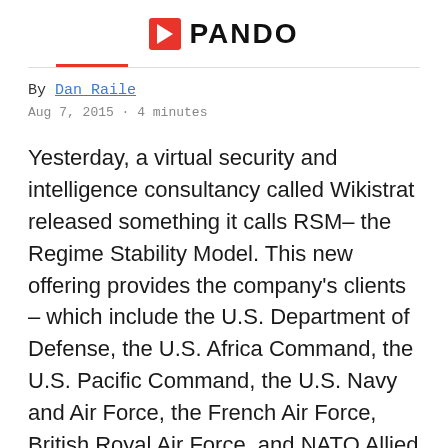PANDO
By Dan Raile
Aug 7, 2015 · 4 minutes
Yesterday, a virtual security and intelligence consultancy called Wikistrat released something it calls RSM– the Regime Stability Model. This new offering provides the company's clients – which include the U.S. Department of Defense, the U.S. Africa Command, the U.S. Pacific Command, the U.S. Navy and Air Force, the French Air Force, British Royal Air Force, and NATO Allied